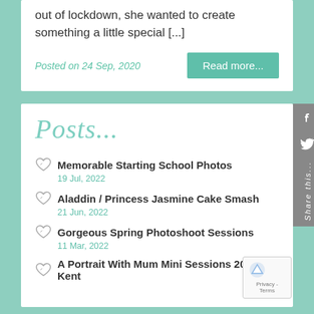out of lockdown, she wanted to create something a little special [...]
Posted on 24 Sep, 2020
Read more...
Posts...
Memorable Starting School Photos
19 Jul, 2022
Aladdin / Princess Jasmine Cake Smash
21 Jun, 2022
Gorgeous Spring Photoshoot Sessions
11 Mar, 2022
A Portrait With Mum Mini Sessions 2022 – Kent